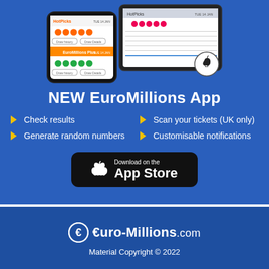[Figure (screenshot): Phone and tablet mockups showing the EuroMillions app interface with lottery numbers and results screens, and an Apple logo badge]
NEW EuroMillions App
Check results
Scan your tickets (UK only)
Generate random numbers
Customisable notifications
[Figure (logo): Download on the App Store button (black rounded rectangle with Apple logo)]
[Figure (logo): Euro-Millions.com logo with euro symbol circle]
Material Copyright © 2022